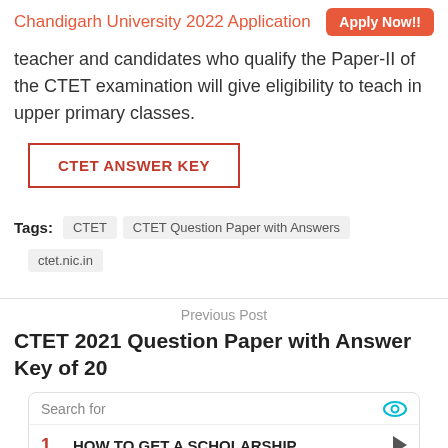Chandigarh University 2022 Application   Apply Now!!
teacher and candidates who qualify the Paper-II of the CTET examination will give eligibility to teach in upper primary classes.
CTET ANSWER KEY
Tags:  CTET   CTET Question Paper with Answers   ctet.nic.in
Previous Post
CTET 2021 Question Paper with Answer Key of 20
[Figure (screenshot): Advertisement widget showing search bar with 'Search for' label and two items: 1. HOW TO GET A SCHOLARSHIP, 2. ONE-YEAR MBA PROGRAMS, with arrow buttons]